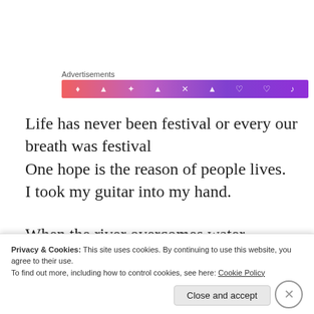Advertisements
[Figure (other): Advertisements banner with gradient background from red-pink to purple with small white icons]
Life has never been festival or every our breath was festival
One hope is the reason of people lives.
I took my guitar into my hand.
When the river overcomes water
Maybe, we will come across again
Privacy & Cookies: This site uses cookies. By continuing to use this website, you agree to their use.
To find out more, including how to control cookies, see here: Cookie Policy
Close and accept